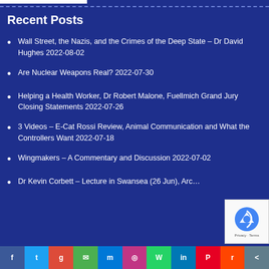Recent Posts
Wall Street, the Nazis, and the Crimes of the Deep State – Dr David Hughes 2022-08-02
Are Nuclear Weapons Real? 2022-07-30
Helping a Health Worker, Dr Robert Malone, Fuellmich Grand Jury Closing Statements 2022-07-26
3 Videos – E-Cat Rossi Review, Animal Communication and What the Controllers Want 2022-07-18
Wingmakers – A Commentary and Discussion 2022-07-02
Dr Kevin Corbett – Lecture in Swansea (26 Jun), Arc…